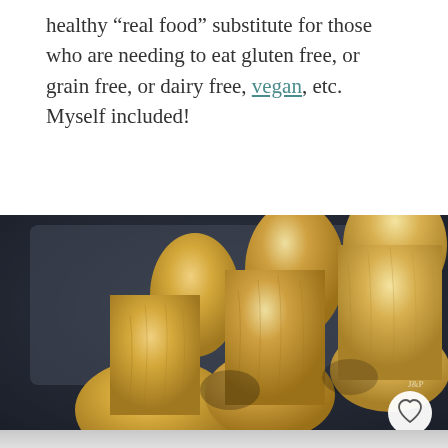healthy “real food” substitute for those who are needing to eat gluten free, or grain free, or dairy free, vegan, etc. Myself included!
[Figure (photo): Close-up photograph of three parsnips lying on a dark surface, showing their cream and golden-yellow skin with textured ridges.]